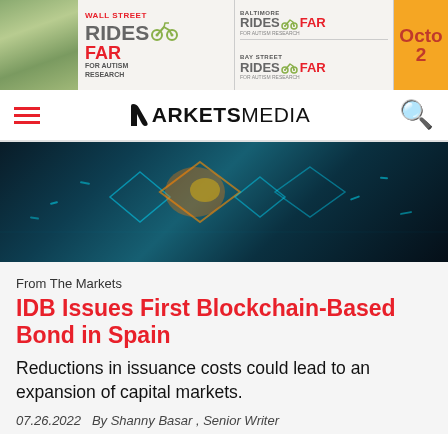[Figure (photo): Banner advertisement for Wall Street Rides FAR for Autism Research event, showing cycling event branding with Baltimore Rides FAR and Bay Street Rides FAR sub-events, and an October date panel]
MARKETS MEDIA
[Figure (photo): Dark teal blockchain-themed hero image with glowing chain links and diamond shapes on dark background]
From The Markets
IDB Issues First Blockchain-Based Bond in Spain
Reductions in issuance costs could lead to an expansion of capital markets.
07.26.2022   By Shanny Basar , Senior Writer